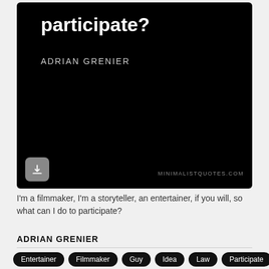[Figure (illustration): Black background card image with white bold text reading 'participate?' and subtitle 'ADRIAN GRENIER', with a download button and minimalistquotes.com watermark]
I'm a filmmaker, I'm a storyteller, an entertainer, if you will, so what can I do to participate?
ADRIAN GRENIER
Entertainer
Filmmaker
Guy
Idea
Law
Participate